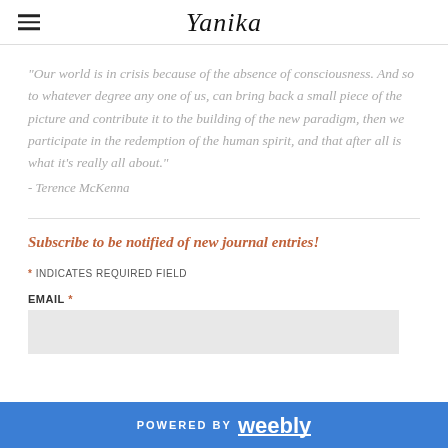Yanika
"Our world is in crisis because of the absence of consciousness. And so to whatever degree any one of us, can bring back a small piece of the picture and contribute it to the building of the new paradigm, then we participate in the redemption of the human spirit, and that after all is what it's really all about."
- Terence McKenna
Subscribe to be notified of new journal entries!
* INDICATES REQUIRED FIELD
EMAIL *
POWERED BY weebly